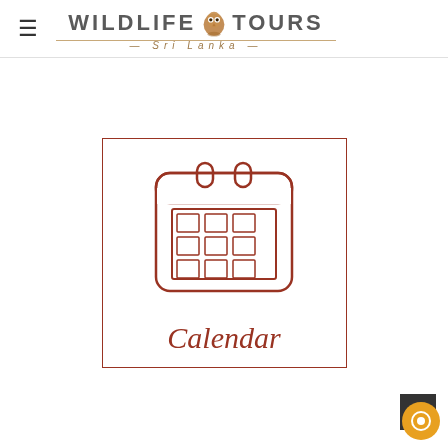Wildlife Tours Sri Lanka
[Figure (illustration): Calendar icon outline in dark red/brown color showing a calendar with two ring binders at the top and a 3x3 grid of squares representing days, all inside a rounded rectangle. Below the icon is the word 'Calendar' in serif italic font.]
Calendar